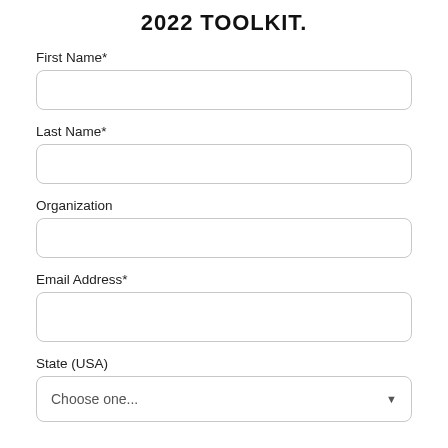2022 TOOLKIT.
First Name*
Last Name*
Organization
Email Address*
State (USA)
Choose one...